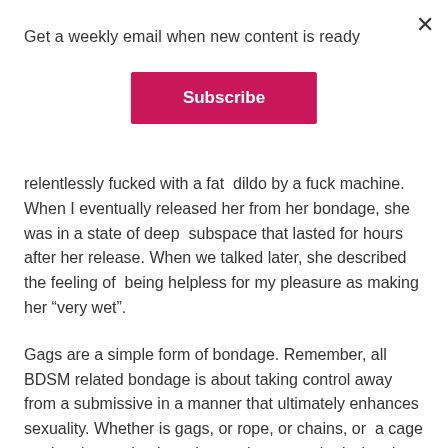Get a weekly email when new content is ready
Subscribe
relentlessly fucked with a fat  dildo by a fuck machine. When I eventually released her from her bondage, she was in a state of deep  subspace that lasted for hours after her release. When we talked later, she described the feeling of  being helpless for my pleasure as making her “very wet”.
Gags are a simple form of bondage. Remember, all BDSM related bondage is about taking control away  from a submissive in a manner that ultimately enhances sexuality. Whether is gags, or rope, or chains, or  a cage or chastity, or simply an instruction, my submissive does not push back